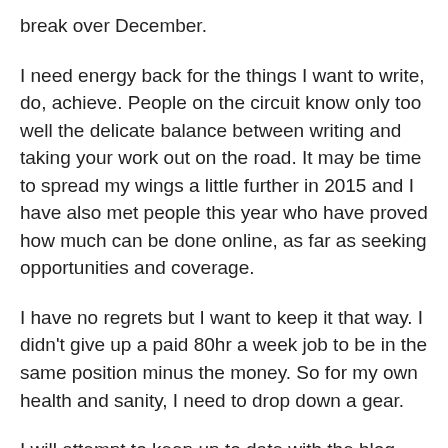break over December.
I need energy back for the things I want to write, do, achieve. People on the circuit know only too well the delicate balance between writing and taking your work out on the road. It may be time to spread my wings a little further in 2015 and I have also met people this year who have proved how much can be done online, as far as seeking opportunities and coverage.
I have no regrets but I want to keep it that way. I didn’t give up a paid 80hr a week job to be in the same position minus the money. So for my own health and sanity, I need to drop down a gear.
I will attempt to keep up to date with the blog though because I think the posts hold more passion if they are